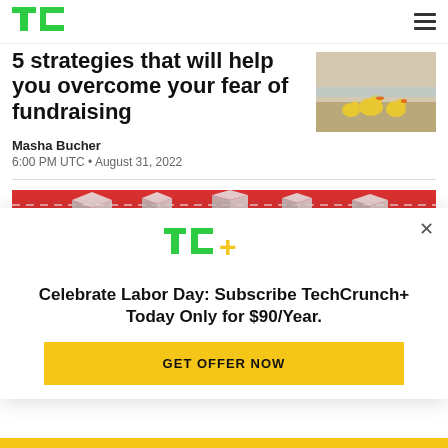TechCrunch
5 strategies that will help you overcome your fear of fundraising
Masha Bucher
6:00 PM UTC • August 31, 2022
[Figure (photo): Photo of ducklings on ground]
[Figure (illustration): Red background illustration with isometric buildings and icons]
[Figure (logo): TechCrunch+ logo (TC+ in green and yellow)]
Celebrate Labor Day: Subscribe TechCrunch+ Today Only for $90/Year.
GET OFFER NOW